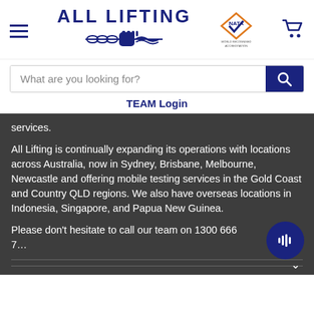[Figure (logo): All Lifting logo with fist gripping chain/rope, company name in bold navy blue]
[Figure (logo): NATA accreditation diamond badge in orange/gold with text 'WORLD RECOGNISED ACCREDITATION']
[Figure (screenshot): Shopping cart icon in navy blue]
What are you looking for?
TEAM Login
services.
All Lifting is continually expanding its operations with locations across Australia, now in Sydney, Brisbane, Melbourne, Newcastle and offering mobile testing services in the Gold Coast and Country QLD regions. We also have overseas locations in Indonesia, Singapore, and Papua New Guinea.
Please don't hesitate to call our team on 1300 666 7…